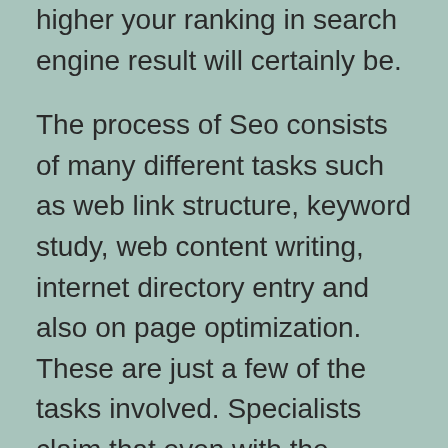higher your ranking in search engine result will certainly be.
The process of Seo consists of many different tasks such as web link structure, keyword study, web content writing, internet directory entry and also on page optimization. These are just a few of the tasks involved. Specialists claim that even with the assistance of excellent quality optimization strategies, without any form of marketing the website will not make it through. The result of SEO is not seen instantly yet over a time period as the website traffic starts increasing.